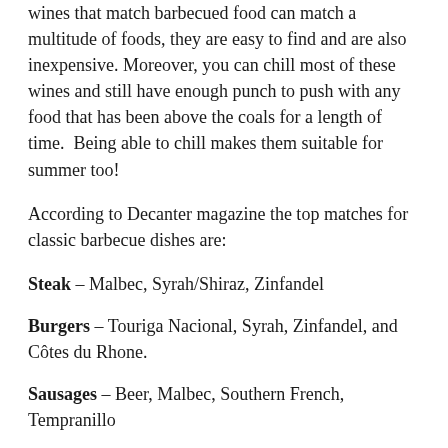wines that match barbecued food can match a multitude of foods, they are easy to find and are also inexpensive. Moreover, you can chill most of these wines and still have enough punch to push with any food that has been above the coals for a length of time.  Being able to chill makes them suitable for summer too!
According to Decanter magazine the top matches for classic barbecue dishes are:
Steak – Malbec, Syrah/Shiraz, Zinfandel
Burgers – Touriga Nacional, Syrah, Zinfandel, and Côtes du Rhone.
Sausages – Beer, Malbec, Southern French, Tempranillo
Chicken – Warmer climate Chardonnay
Pork Chops – Cider, Valpolicella, Barbera, New World